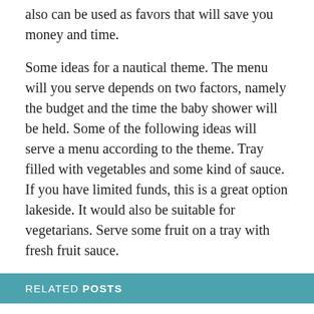also can be used as favors that will save you money and time.
Some ideas for a nautical theme. The menu will you serve depends on two factors, namely the budget and the time the baby shower will be held. Some of the following ideas will serve a menu according to the theme. Tray filled with vegetables and some kind of sauce. If you have limited funds, this is a great option lakeside. It would also be suitable for vegetarians. Serve some fruit on a tray with fresh fruit sauce.
RELATED POSTS
Baby Owl Baby Shower Ideas
Creative Tips And Ideas When Hosting A Baby Shower